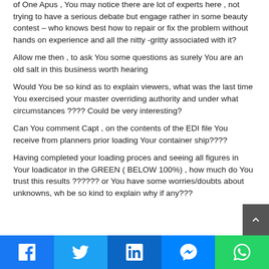of One Apus , You may notice there are lot of experts here , not trying to have a serious debate but engage rather in some beauty contest – who knows best how to repair or fix the problem without hands on experience and all the nitty -gritty associated with it?
Allow me then , to ask You some questions as surely You are an old salt in this business worth hearing
Would You be so kind as to explain viewers, what was the last time You exercised your master overriding authority and under what circumstances ???? Could be very interesting?
Can You comment Capt , on the contents of the EDI file You receive from planners prior loading Your container ship????
Having completed your loading proces and seeing all figures in Your loadicator in the GREEN ( BELOW 100%) , how much do You trust this results ?????? or You have some worries/doubts about unknowns, wh be so kind to explain why if any???